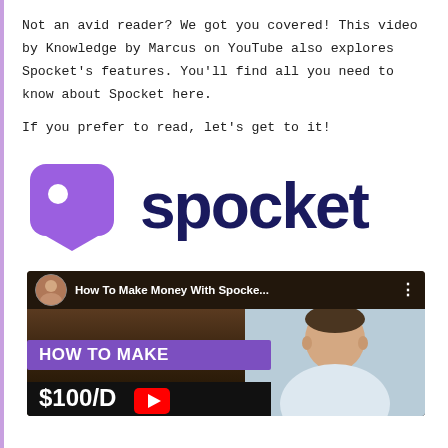Not an avid reader? We got you covered! This video by Knowledge by Marcus on YouTube also explores Spocket's features. You'll find all you need to know about Spocket here.
If you prefer to read, let's get to it!
[Figure (logo): Spocket logo: purple shield/tag icon with white circle, next to the word 'spocket' in dark navy bold text]
[Figure (screenshot): YouTube video thumbnail for 'How To Make Money With Spocke...' by Knowledge by Marcus, showing a young man and text 'HOW TO MAKE $100/D' with YouTube play button]